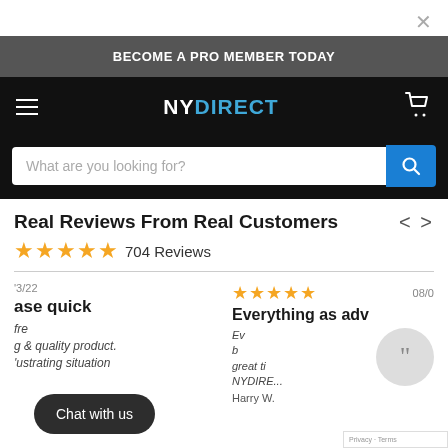×
BECOME A PRO MEMBER TODAY
[Figure (screenshot): NYDirect website navigation bar with hamburger menu, NYDirect logo, and cart icon on black background]
What are you looking for?
Real Reviews From Real Customers
★★★★★ 704 Reviews
'3/22
ase quick
fre
g & quality product.
'ustrating situation
08/0
Everything as adv
Ev
b
great ti
NYDIRE...
Harry W.
Chat with us